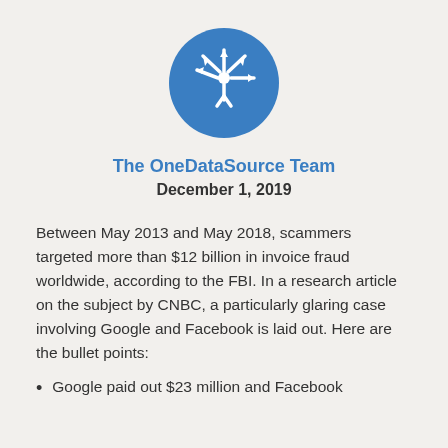[Figure (logo): OneDataSource logo: blue circle with white figure radiating arrows in multiple directions]
The OneDataSource Team
December 1, 2019
Between May 2013 and May 2018, scammers targeted more than $12 billion in invoice fraud worldwide, according to the FBI. In a research article on the subject by CNBC, a particularly glaring case involving Google and Facebook is laid out. Here are the bullet points:
Google paid out $23 million and Facebook